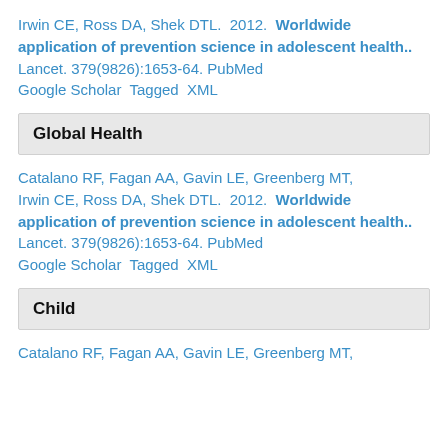Irwin CE, Ross DA, Shek DTL. 2012. Worldwide application of prevention science in adolescent health.. Lancet. 379(9826):1653-64. PubMed Google Scholar Tagged XML
Global Health
Catalano RF, Fagan AA, Gavin LE, Greenberg MT, Irwin CE, Ross DA, Shek DTL. 2012. Worldwide application of prevention science in adolescent health.. Lancet. 379(9826):1653-64. PubMed Google Scholar Tagged XML
Child
Catalano RF, Fagan AA, Gavin LE, Greenberg MT,